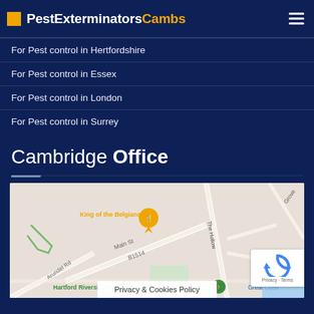PestExterminatorsCambs
For Pest control in Hertfordshire
For Pest control in Essex
For Pest control in London
For Pest control in Surrey
Cambridge Office
[Figure (map): Google Maps screenshot showing Cambridge area with King of the Belgians marker, Main St, B1514, The Hollow, Arundel Rd, Hartford Riverside Park, Great Ouse labels visible.]